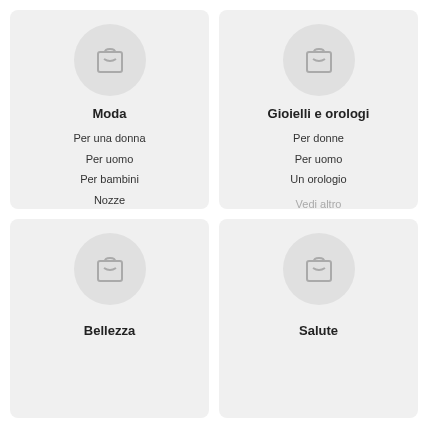[Figure (illustration): Shopping bag icon in a circle, for Moda card]
Moda
Per una donna
Per uomo
Per bambini
Nozze
Vedi altro
[Figure (illustration): Shopping bag icon in a circle, for Gioielli e orologi card]
Gioielli e orologi
Per donne
Per uomo
Un orologio
Vedi altro
[Figure (illustration): Shopping bag icon in a circle, for Bellezza card]
Bellezza
[Figure (illustration): Shopping bag icon in a circle, for Salute card]
Salute